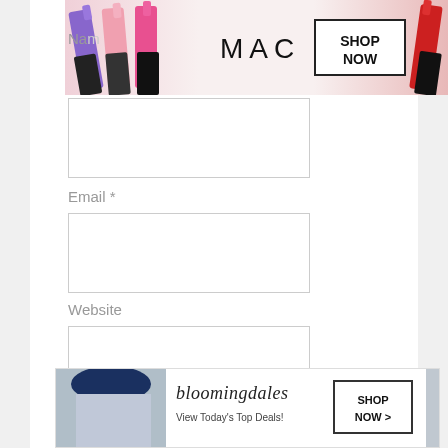[Figure (screenshot): MAC cosmetics advertisement banner showing lipsticks and 'SHOP NOW' button]
Name *
[Figure (screenshot): Empty text input field for Name]
Email *
[Figure (screenshot): Empty text input field for Email]
Website
[Figure (screenshot): Empty text input field for Website]
Post Comment
CLOSE
[Figure (screenshot): Bloomingdale's advertisement banner with 'View Today's Top Deals!' and 'SHOP NOW >' button]